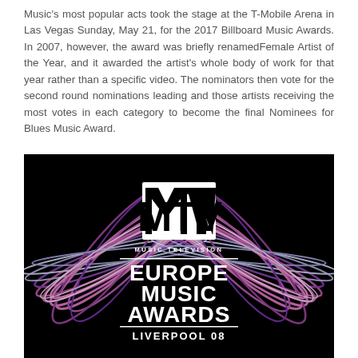Music's most popular acts took the stage at the T-Mobile Arena in Las Vegas Sunday, May 21, for the 2017 Billboard Music Awards. In 2007, however, the award was briefly renamedFemale Artist of the Year, and it awarded the artist's whole body of work for that year rather than a specific video. The nominators then vote for the second round nominations leading and those artists receiving the most votes in each category to become the final Nominees for Blues Music Award.
[Figure (logo): MTV Music Television Europe Music Awards Liverpool 08 logo on black background with colorful swirling ribbon/ring design in purple, pink, and white]